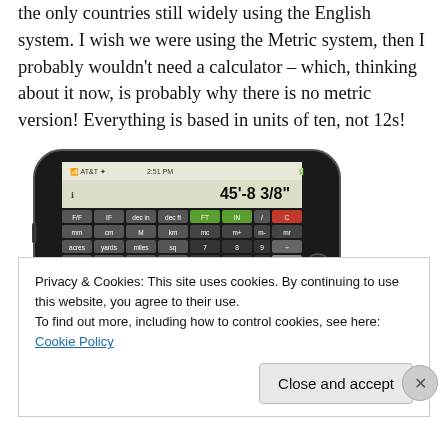the only countries still widely using the English system. I wish we were using the Metric system, then I probably wouldn't need a calculator – which, thinking about it now, is probably why there is no metric version! Everything is based in units of ten, not 12s!
[Figure (screenshot): iPhone screenshot showing a construction calculator app displaying 45'-8 3/8" with buttons for FT, IN, unit conversions, and math operations]
Privacy & Cookies: This site uses cookies. By continuing to use this website, you agree to their use.
To find out more, including how to control cookies, see here: Cookie Policy
Close and accept